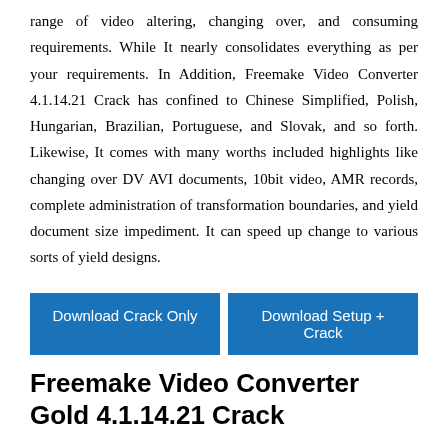range of video altering, changing over, and consuming requirements. While It nearly consolidates everything as per your requirements. In Addition, Freemake Video Converter 4.1.14.21 Crack has confined to Chinese Simplified, Polish, Hungarian, Brazilian, Portuguese, and Slovak, and so forth. Likewise, It comes with many worths included highlights like changing over DV AVI documents, 10bit video, AMR records, complete administration of transformation boundaries, and yield document size impediment. It can speed up change to various sorts of yield designs.
[Figure (other): Two blue download buttons side by side: 'Download Crack Only' and 'Download Setup + Crack']
Freemake Video Converter Gold 4.1.14.21 Crack
Freemake Video Converter Gold 4.1.14.21 Crack Full Version can likewise make quiet recordings. It has the programmed update instrument for youtube Vevo download that permits fixing the